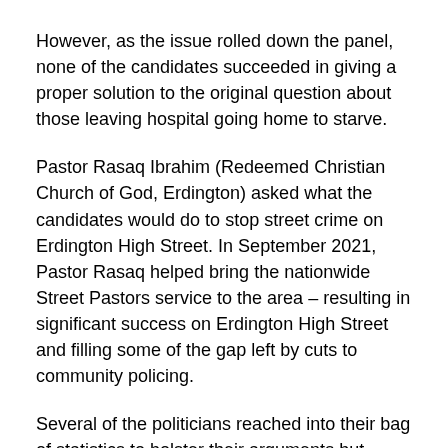However, as the issue rolled down the panel, none of the candidates succeeded in giving a proper solution to the original question about those leaving hospital going home to starve.
Pastor Rasaq Ibrahim (Redeemed Christian Church of God, Erdington) asked what the candidates would do to stop street crime on Erdington High Street. In September 2021, Pastor Rasaq helped bring the nationwide Street Pastors service to the area – resulting in significant success on Erdington High Street and filling some of the gap left by cuts to community policing.
Several of the politicians reached into their bag of statistics to bolster their arguments but could often be contradicted by each others 'facts' and figures. Labour's complaint Birmingham has lost 1,000 policemen under